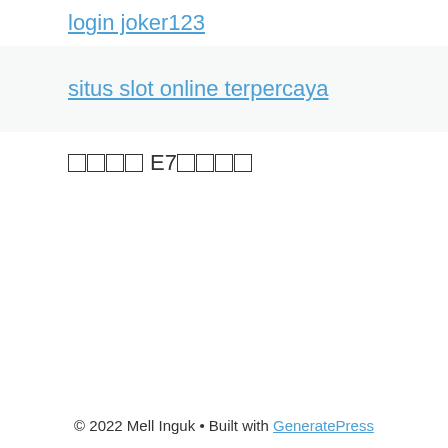login joker123
situs slot online terpercaya
□□□□ E7□□□□
© 2022 Mell Inguk • Built with GeneratePress